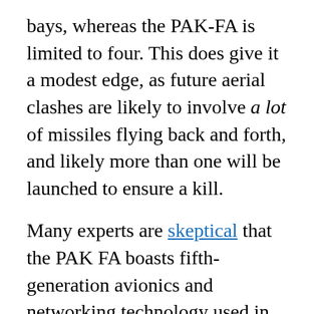bays, whereas the PAK-FA is limited to four. This does give it a modest edge, as future aerial clashes are likely to involve a lot of missiles flying back and forth, and likely more than one will be launched to ensure a kill.
Many experts are skeptical that the PAK FA boasts fifth-generation avionics and networking technology used in the latest U.S. fighters. Intriguingly, networking with a sufficiently powerful low-band AESA radar, such as that on an E-2D AWACs plane, might allow radar-guided missiles to target stealth fighters! However, F-22 datalinks are also outdated and have only recently been slated for upgrade.